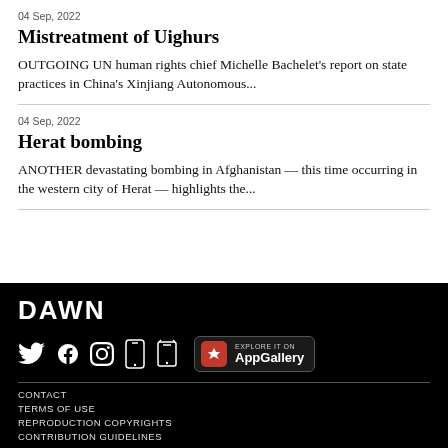04 Sep, 2022
Mistreatment of Uighurs
OUTGOING UN human rights chief Michelle Bachelet's report on state practices in China's Xinjiang Autonomous...
04 Sep, 2022
Herat bombing
ANOTHER devastating bombing in Afghanistan — this time occurring in the western city of Herat — highlights the...
[Figure (logo): DAWN newspaper logo in white on black background, with social media icons (Twitter, Facebook, Instagram) and phone icons, and AppGallery badge]
CONTACT
TERMS OF USE
REPRODUCTION COPYRIGHTS
CONTRIBUTION GUIDELINES